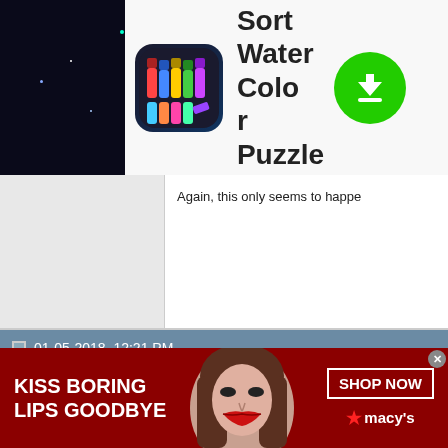[Figure (screenshot): Top advertisement banner for 'Sort Water Color Puzzle' app with dark starry background on left, app icon, title, and green download button]
Again, this only seems to happe
01-05-2018, 12:21 PM
don999 ○
Member
registered user
Join Date: Apr 2007
Posts: 80
I thought I'd try it again to make

I boot knoppix, typing "knoppix6 the overlay partition. It's just as

Then I mount the reiserfs overla on /mnt/a just so I can access m previously downloaded.

Once I install the 0.186 dmo pa console and the plugins work. If mame, the menu shows all the
[Figure (photo): Bottom advertisement banner for Macy's featuring a woman's face with red lips, 'KISS BORING LIPS GOODBYE' text on red background, and SHOP NOW button with macy's star logo]